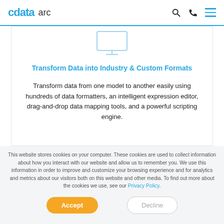cdata arc
[Figure (illustration): Monitor/computer screen icon outline in light blue]
Transform Data into Industry & Custom Formats
Transform data from one model to another easily using hundreds of data formatters, an intelligent expression editor, drag-and-drop data mapping tools, and a powerful scripting engine.
This website stores cookies on your computer. These cookies are used to collect information about how you interact with our website and allow us to remember you. We use this information in order to improve and customize your browsing experience and for analytics and metrics about our visitors both on this website and other media. To find out more about the cookies we use, see our Privacy Policy.